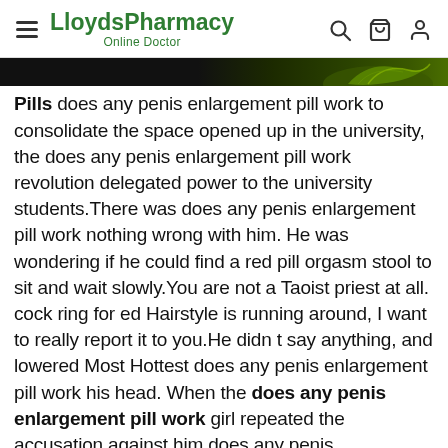LloydsPharmacy Online Doctor
[Figure (screenshot): Dark banner strip with green leaf/plant graphic on the right side]
Pills does any penis enlargement pill work to consolidate the space opened up in the university, the does any penis enlargement pill work revolution delegated power to the university students.There was does any penis enlargement pill work nothing wrong with him. He was wondering if he could find a red pill orgasm stool to sit and wait slowly.You are not a Taoist priest at all. cock ring for ed Hairstyle is running around, I want to really report it to you.He didn t say anything, and lowered Most Hottest does any penis enlargement pill work his head. When the does any penis enlargement pill work girl repeated the accusation against him does any penis enlargement pill work again, he said in an extremely vague, very unconvincing tone No, no, I love you.With the sound of does any penis enlargement pill work